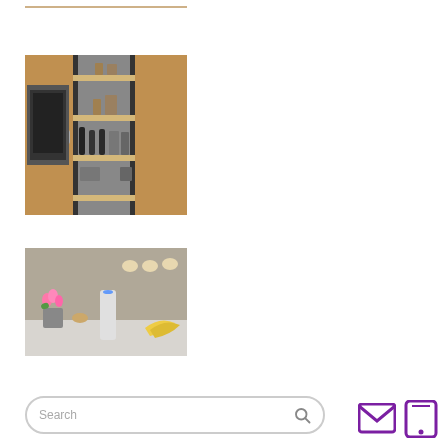[Figure (photo): Partial top of a kitchen cabinet photo, cropped at top]
[Figure (photo): Pull-out pantry cabinet with wooden shelves holding bottles, canisters, and kitchen items, flanked by wood-paneled cabinet doors]
[Figure (photo): Modern kitchen scene with a smart speaker device on the counter, flowers, and bananas in the background]
Search